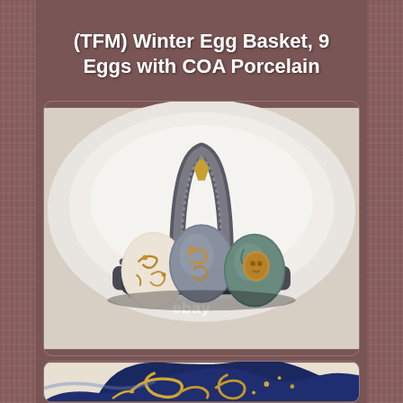(TFM) Winter Egg Basket, 9 Eggs with COA Porcelain
[Figure (photo): A decorative porcelain egg basket with silver/pewter finish and ornate gold detailing, holding three decorated porcelain eggs with blue, white and gold scroll designs. The basket sits on a white plate background. An eBay watermark is visible.]
[Figure (photo): Close-up of a decorative porcelain piece in deep blue and gold, showing ornate gilded scrollwork and floral relief patterns.]